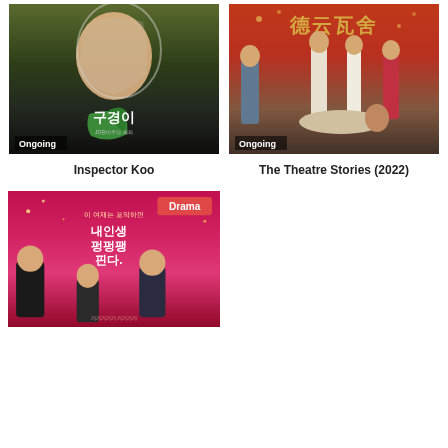[Figure (photo): Movie poster for Inspector Koo showing a young woman with a plastic bag over her head and green gloved hand, with Korean text and 'Ongoing' badge]
Inspector Koo
[Figure (photo): Movie poster for The Theatre Stories (2022) showing multiple characters in traditional Chinese costumes on a red background with Chinese characters at top and 'Ongoing' badge]
The Theatre Stories (2022)
[Figure (photo): Drama poster with pink/magenta background showing three people and Korean text, with 'Drama' badge in top right corner]